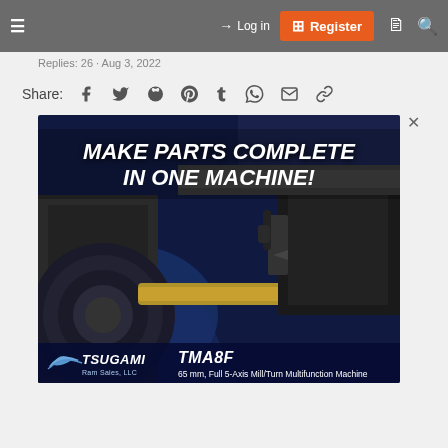Navigation bar with hamburger menu, Login, Register, document and search icons
Replies: 26 · Aug 3, 2022
Share: [facebook] [twitter] [reddit] [pinterest] [tumblr] [whatsapp] [email] [link]
[Figure (photo): Advertisement for Tsugami TMA8F CNC machine. Shows a CNC lathe/mill machine with text 'MAKE PARTS COMPLETE IN ONE MACHINE!' and branding 'TSUGAMI TMA8F - Ram Sales, LLC - 65 mm, Full 5-Axis Mill/Turn Multifunction Machine']